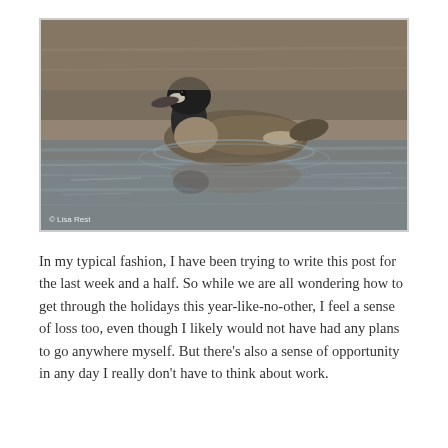[Figure (photo): A duck swimming on a calm body of water with reflections visible on the surface. Photo watermarked '© Lisa Rest' in the lower left corner.]
In my typical fashion, I have been trying to write this post for the last week and a half. So while we are all wondering how to get through the holidays this year-like-no-other, I feel a sense of loss too, even though I likely would not have had any plans to go anywhere myself. But there's also a sense of opportunity in any day I really don't have to think about work.